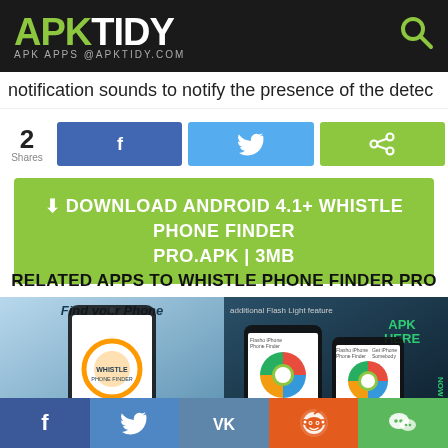APKTIDY APK APPS @APKTIDY.COM
notification sounds to notify the presence of the detec
2 Shares
DOWNLOAD ANDROID 4.1+ WHISTLE PHONE FINDER PRO.APK | 3MB
RELATED APPS TO WHISTLE PHONE FINDER PRO
[Figure (screenshot): App screenshot showing 'Find your Phone' with Whistle Phone Finder logo on a phone screen]
[Figure (screenshot): App screenshot showing additional Flash Light feature with two phones displaying the Whistle Phone Finder app, APK HERE watermark visible]
f  (twitter bird)  VK  (reddit)  (wechat)